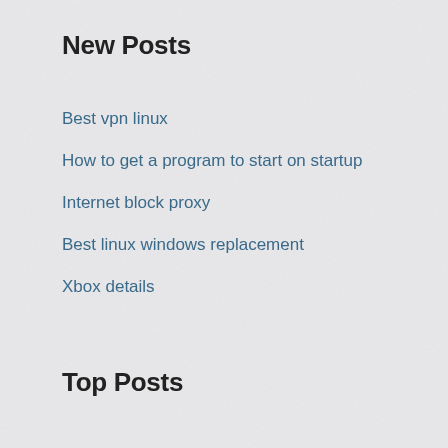New Posts
Best vpn linux
How to get a program to start on startup
Internet block proxy
Best linux windows replacement
Xbox details
Top Posts
Vpn buffalo